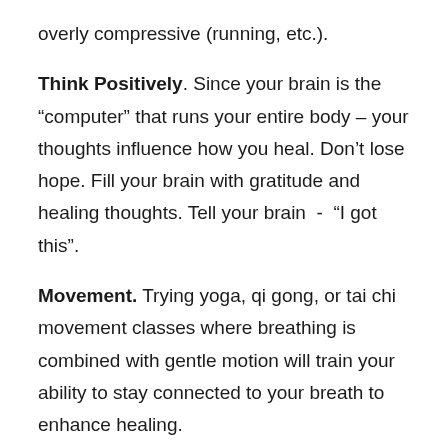overly compressive (running, etc.).
Think Positively. Since your brain is the “computer” that runs your entire body – your thoughts influence how you heal. Don’t lose hope. Fill your brain with gratitude and healing thoughts. Tell your brain  -  “I got this”.
Movement. Trying yoga, qi gong, or tai chi movement classes where breathing is combined with gentle motion will train your ability to stay connected to your breath to enhance healing.
Self Love. Reward yourself for your work - often. The longer you keep this up the more lasting changes occur and you will build good habits for life.
Stay Strong. Healing from a TBI can take months to